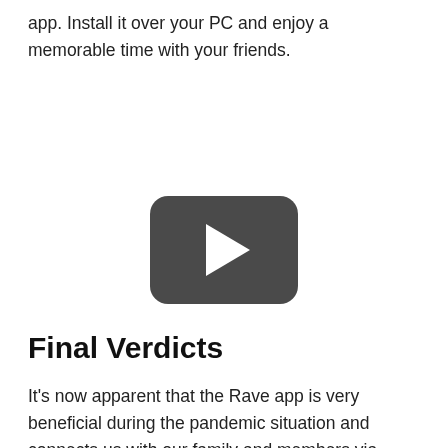app. Install it over your PC and enjoy a memorable time with your friends.
[Figure (other): Video player thumbnail with dark rounded rectangle play button on white background]
Final Verdicts
It's now apparent that the Rave app is very beneficial during the pandemic situation and connects us with our family and members via voice or text messages. We can change